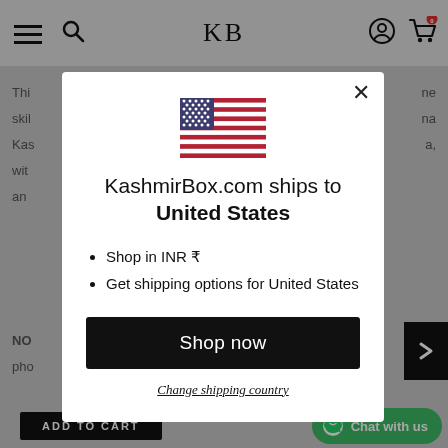KB
[Figure (screenshot): US flag emoji / SVG used to indicate shipping destination country (United States)]
KashmirBox.com ships to United States
Shop in INR ₹
Get shipping options for United States
Shop now
Change shipping country
ADD TO CART
Chat with us